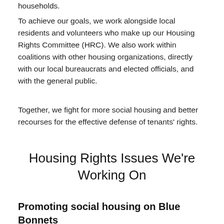households.
To achieve our goals, we work alongside local residents and volunteers who make up our Housing Rights Committee (HRC). We also work within coalitions with other housing organizations, directly with our local bureaucrats and elected officials, and with the general public.
Together, we fight for more social housing and better recourses for the effective defense of tenants' rights.
Housing Rights Issues We're Working On
Promoting social housing on Blue Bonnets